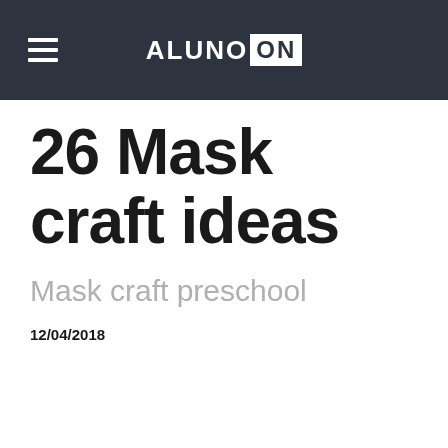ALUNO ON
26 Mask craft ideas
Mask craft preschool
12/04/2018